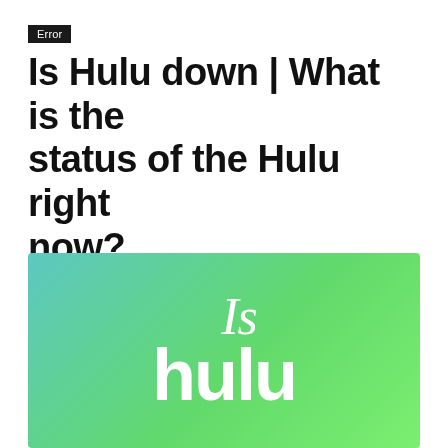Error
Is Hulu down | What is the status of the Hulu right now?
By Kevin Chaves – June 11, 2020
[Figure (photo): Hulu branded graphic with green gradient background showing the text 'Is hulu' in white letters]